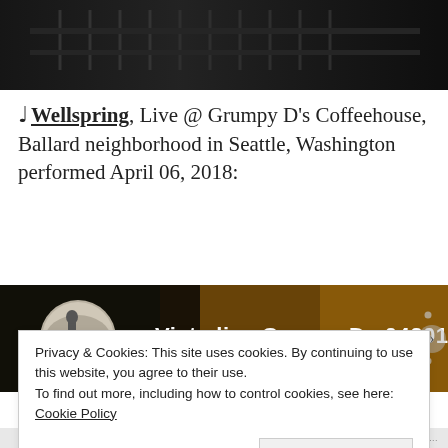[Figure (photo): Dark photo showing chairs or seating area, partially visible at top of page]
♩ Wellspring, Live @ Grumpy D's Coffeehouse, Ballard neighborhood in Seattle, Washington performed April 06, 2018:
[Figure (screenshot): Video thumbnail for 'Vista live GrumpyDs 042018' showing a small circular profile photo on the left and warm-lit venue on the right]
Privacy & Cookies: This site uses cookies. By continuing to use this website, you agree to their use.
To find out more, including how to control cookies, see here: Cookie Policy
Close and accept
NEXT THIS A...